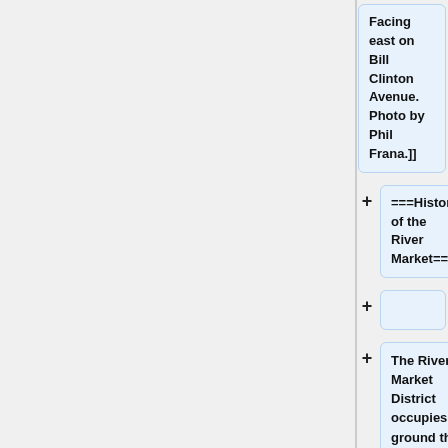Facing east on Bill Clinton Avenue. Photo by Phil Frana.]]
===History of the River Market===
The River Market District occupies ground that long ago had been the main landing or public wharf along the [[Arkansas River]]. Downtown residents still occasionally called it Old Town or the East Markham Warehouse District.